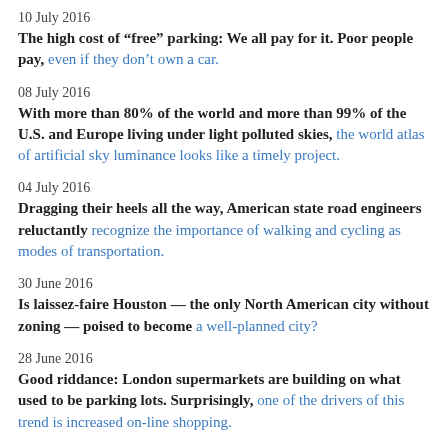10 July 2016
The high cost of “free” parking: We all pay for it. Poor people pay, even if they don’t own a car.
08 July 2016
With more than 80% of the world and more than 99% of the U.S. and Europe living under light polluted skies, the world atlas of artificial sky luminance looks like a timely project.
04 July 2016
Dragging their heels all the way, American state road engineers reluctantly recognize the importance of walking and cycling as modes of transportation.
30 June 2016
Is laissez-faire Houston — the only North American city without zoning — poised to become a well-planned city?
28 June 2016
Good riddance: London supermarkets are building on what used to be parking lots. Surprisingly, one of the drivers of this trend is increased on-line shopping.